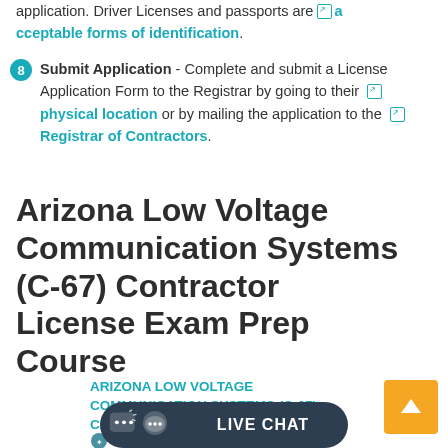application. Driver Licenses and passports are acceptable forms of identification.
8 Submit Application - Complete and submit a License Application Form to the Registrar by going to their physical location or by mailing the application to the Registrar of Contractors.
Arizona Low Voltage Communication Systems (C-67) Contractor License Exam Prep Course
ARIZONA LOW VOLTAGE COMMUNICATION SYSTEMS (C-67) CONTRACTOR (PSI©) COURSE
Login or... enrollment
[Figure (screenshot): Live Chat button overlay at bottom of page]